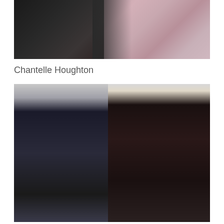[Figure (photo): Top photo showing two people, a man in black shirt on the left and a woman in a purple/lavender top on the right]
Chantelle Houghton
[Figure (photo): Bottom photo showing two people walking, a man wearing a grey beanie hat, black leather jacket and grey scarf on the left, and a blonde woman wearing a black fur coat with a beaded necklace on the right]